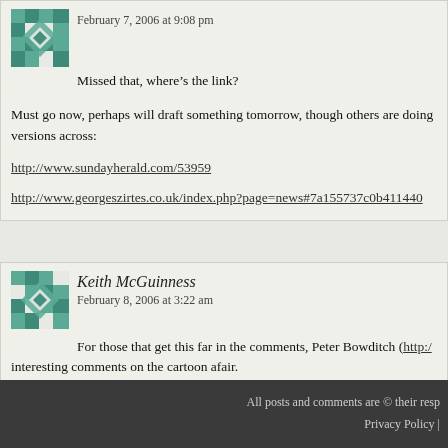February 7, 2006 at 9:08 pm
Missed that, where’s the link?
Must go now, perhaps will draft something tomorrow, though others are doing versions across:
http://www.sundayherald.com/53959
http://www.georgeszirtes.co.uk/index.php?page=news#7a155737c0b411440
Keith McGuinness
February 8, 2006 at 3:22 am
For those that get this far in the comments, Peter Bowditch (http:// interesting comments on the cartoon afair.
All posts and comments are © their resp
Privacy Policy |